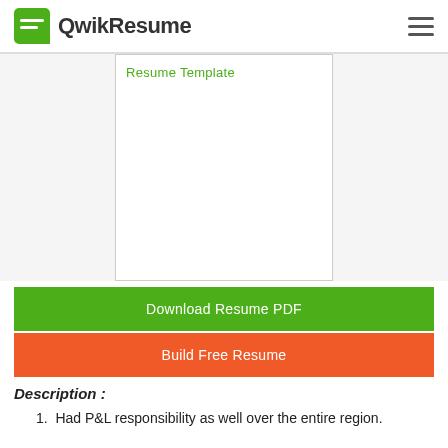QwikResume
[Figure (screenshot): Resume Template preview card showing a blank white resume document with 'Resume Template' label in green text]
Download Resume PDF
Build Free Resume
Description :
Had P&L responsibility as well over the entire region.